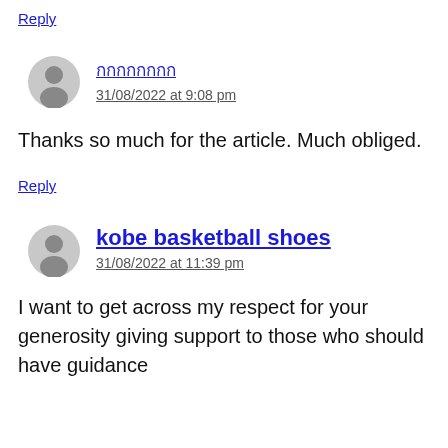Reply
[Figure (illustration): Gray default user avatar icon (circle with person silhouette)]
กกกกกกกก
31/08/2022 at 9:08 pm
Thanks so much for the article. Much obliged.
Reply
[Figure (illustration): Gray default user avatar icon (circle with person silhouette)]
kobe basketball shoes
31/08/2022 at 11:39 pm
I want to get across my respect for your generosity giving support to those who should have guidance